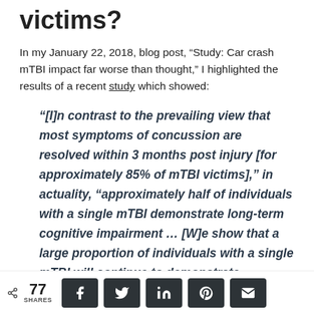victims?
In my January 22, 2018, blog post, “Study: Car crash mTBI impact far worse than thought,” I highlighted the results of a recent study which showed:
“[I]n contrast to the prevailing view that most symptoms of concussion are resolved within 3 months post injury [for approximately 85% of mTBI victims],” in actuality, “approximately half of individuals with a single mTBI demonstrate long-term cognitive impairment … [W]e show that a large proportion of individuals with a single mTBI will continue to demonstrate measurable impairment in various cognitive
< 77 SHARES [social share buttons: Facebook, Twitter, LinkedIn, Pinterest, Email]